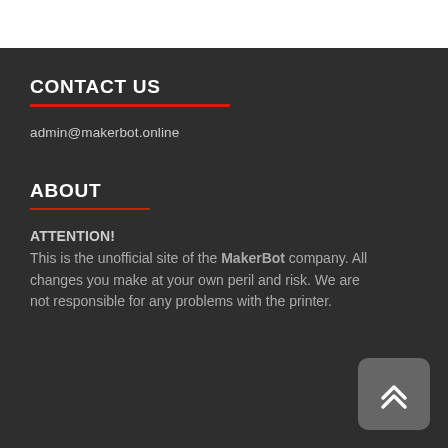CONTACT US
admin@makerbot.online
ABOUT
ATTENTION!
This is the unofficial site of the MakerBot company. All changes you make at your own peril and risk. We are not responsible for any problems with the printer.
[Figure (other): Scroll-to-top button with double chevron up arrow icon]